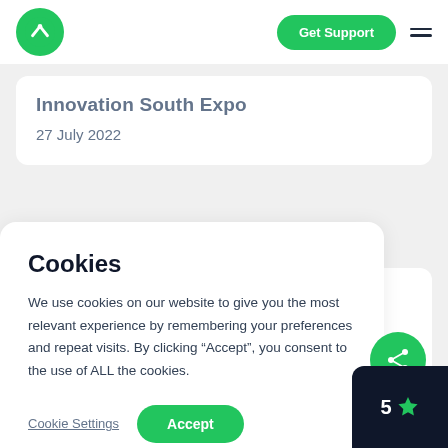Innovation South Expo · Get Support · Navigation
Innovation South Expo
27 July 2022
Cookies
We use cookies on our website to give you the most relevant experience by remembering your preferences and repeat visits. By clicking “Accept”, you consent to the use of ALL the cookies.
Cookie Settings  Accept